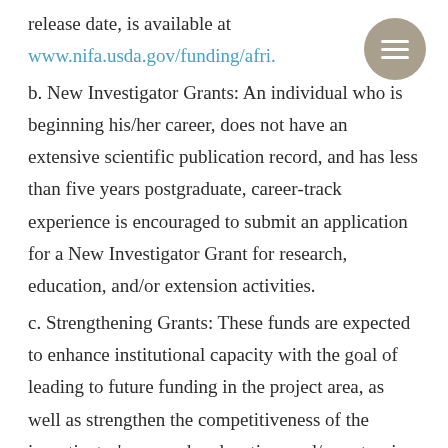release date, is available at www.nifa.usda.gov/funding/afri.
b. New Investigator Grants: An individual who is beginning his/her career, does not have an extensive scientific publication record, and has less than five years postgraduate, career-track experience is encouraged to submit an application for a New Investigator Grant for research, education, and/or extension activities.
c. Strengthening Grants: These funds are expected to enhance institutional capacity with the goal of leading to future funding in the project area, as well as strengthen the competitiveness of the investigator's research, education, and/or extension